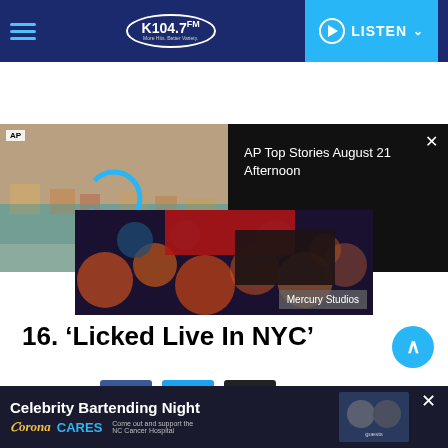K104.7 FM — LISTEN
[Figure (screenshot): AP Top Stories August 21 Afternoon video panel with flood thumbnail on left and title on dark background on right]
[Figure (photo): Bokeh lights article image with Mercury Studios watermark overlay]
16. ‘Licked Live In NYC’
Share
[Figure (infographic): Social share buttons: Facebook, Twitter, Link]
[Figure (infographic): Advertisement banner: Celebrity Bartending Night — Corona Cares — Come out and support the NC Cancer Hospital]